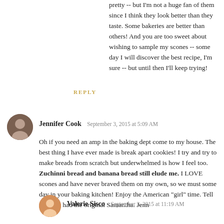pretty -- but I'm not a huge fan of them since I think they look better than they taste. Some bakeries are better than others! And you are too sweet about wishing to sample my scones -- some day I will discover the best recipe, I'm sure -- but until then I'll keep trying!
REPLY
Jennifer Cook  September 3, 2015 at 5:09 AM
Oh if you need an amp in the baking dept come to my house. The best thing I have ever made is break apart cookies! I try and try to make breads from scratch but underwhelmed is how I feel too. Zuchinni bread and banana bread still elude me. I LOVE scones and have never braved them on my own, so we must some day in your baking kitchen! Enjoy the American "girl" time. Tell Devon I had the original Samantha. Jenn
Valerie Sisco  September 3, 2015 at 11:19 AM